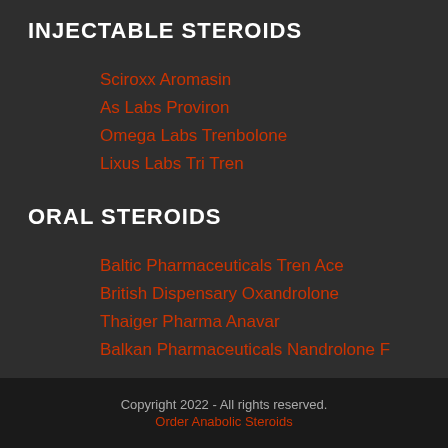INJECTABLE STEROIDS
Sciroxx Aromasin
As Labs Proviron
Omega Labs Trenbolone
Lixus Labs Tri Tren
ORAL STEROIDS
Baltic Pharmaceuticals Tren Ace
British Dispensary Oxandrolone
Thaiger Pharma Anavar
Balkan Pharmaceuticals Nandrolone F
Copyright 2022 - All rights reserved.
Order Anabolic Steroids